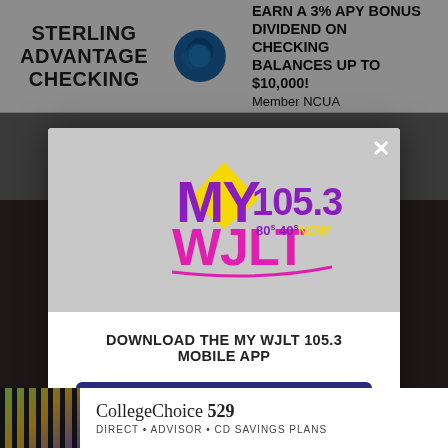[Figure (screenshot): Top banner advertisement for Sterling Advantage Checking: 'STERLING ADVANTAGE CHECKING' on left, circular logo in center, 'EARN A 3% APY BONUS DIVIDEND ON CHECKING BALANCES UP TO $10,000! Member NCUA' on right]
[Figure (logo): MY 105.3 WJLT 80s 90s NOW radio station logo — purple/pink/yellow letters on gray background]
DOWNLOAD THE MY WJLT 105.3 MOBILE APP
GET OUR FREE MOBILE APP
Also listen on:  amazon alexa
[Figure (screenshot): Bottom banner advertisement for CollegeChoice 529: photo of children on left, 'CollegeChoice 529 DIRECT • ADVISOR • CD SAVINGS PLANS' on right]